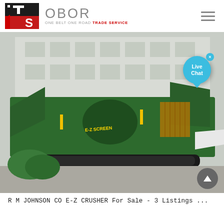OBOR ONE BELT ONE ROAD TRADE SERVICE
[Figure (photo): Large green mobile crushing/screening machine (E-Z Crusher) parked in front of a warehouse building, with a Live Chat bubble overlay in the top right of the image]
R M JOHNSON CO E-Z CRUSHER For Sale - 3 Listings ...